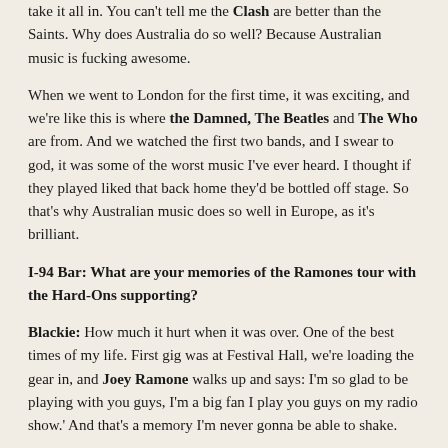take it all in. You can't tell me the Clash are better than the Saints. Why does Australia do so well? Because Australian music is fucking awesome.
When we went to London for the first time, it was exciting, and we're like this is where the Damned, The Beatles and The Who are from. And we watched the first two bands, and I swear to god, it was some of the worst music I've ever heard. I thought if they played liked that back home they'd be bottled off stage. So that's why Australian music does so well in Europe, as it's brilliant.
I-94 Bar: What are your memories of the Ramones tour with the Hard-Ons supporting?
Blackie: How much it hurt when it was over. One of the best times of my life. First gig was at Festival Hall, we're loading the gear in, and Joey Ramone walks up and says: I'm so glad to be playing with you guys, I'm a big fan I play you guys on my radio show.' And that's a memory I'm never gonna be able to shake.
I-94 Bar: What's coming up for the next few months?
Blackie: Tons. I've written most of the songs for the next